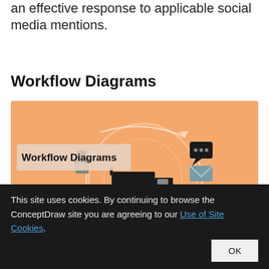an effective response to applicable social media mentions.
Workflow Diagrams
[Figure (illustration): Workflow Diagrams illustration on a salmon/peach background showing icons of a truck, a person carrying a document, a settings/gear icon, a hammer icon, a chat bubble icon, and an envelope icon arranged in a circular flow diagram. A label 'Workflow Diagrams' appears in the upper left of the image.]
This site uses cookies. By continuing to browse the ConceptDraw site you are agreeing to our Use of Site Cookies.